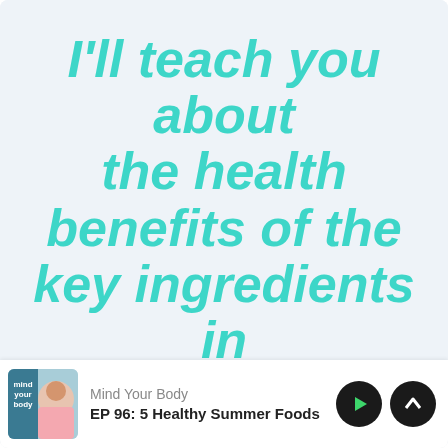[Figure (screenshot): Podcast app screenshot showing a quote card with teal italic bold text reading 'I'll teach you about the health benefits of the key ingredients in' on a light blue-grey background, with a bottom player bar showing 'Mind Your Body' podcast, episode 'EP 96: 5 Healthy Summer Foods', with play and scroll-up control buttons.]